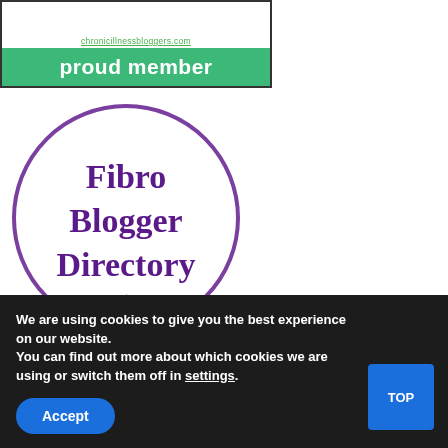[Figure (logo): Proud member badge with green banner and URL text]
[Figure (logo): Fibro Blogger Directory valued member circular badge with purple circle border and purple bold text]
We are using cookies to give you the best experience on our website.
You can find out more about which cookies we are using or switch them off in settings.
Accept
TOP